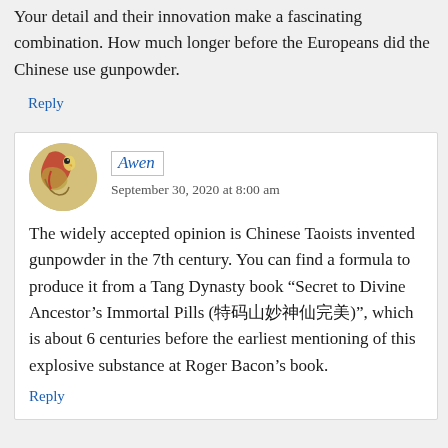Your detail and their innovation make a fascinating combination. How much longer before the Europeans did the Chinese use gunpowder.
Reply
Awen
September 30, 2020 at 8:00 am
The widely accepted opinion is Chinese Taoists invented gunpowder in the 7th century. You can find a formula to produce it from a Tang Dynasty book “Secret to Divine Ancestor’s Immortal Pills (特码山妙神仙完美)”, which is about 6 centuries before the earliest mentioning of this explosive substance at Roger Bacon’s book.
Reply